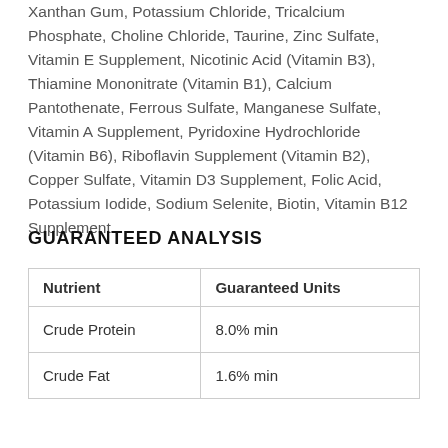Xanthan Gum, Potassium Chloride, Tricalcium Phosphate, Choline Chloride, Taurine, Zinc Sulfate, Vitamin E Supplement, Nicotinic Acid (Vitamin B3), Thiamine Mononitrate (Vitamin B1), Calcium Pantothenate, Ferrous Sulfate, Manganese Sulfate, Vitamin A Supplement, Pyridoxine Hydrochloride (Vitamin B6), Riboflavin Supplement (Vitamin B2), Copper Sulfate, Vitamin D3 Supplement, Folic Acid, Potassium Iodide, Sodium Selenite, Biotin, Vitamin B12 Supplement
GUARANTEED ANALYSIS
| Nutrient | Guaranteed Units |
| --- | --- |
| Crude Protein | 8.0% min |
| Crude Fat | 1.6% min |